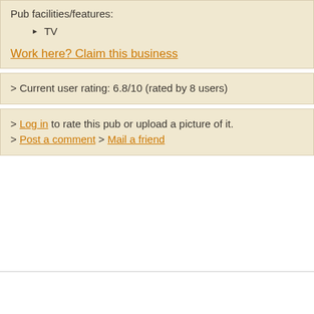Pub facilities/features:
TV
Work here? Claim this business
> Current user rating: 6.8/10 (rated by 8 users)
> Log in to rate this pub or upload a picture of it.
> Post a comment > Mail a friend